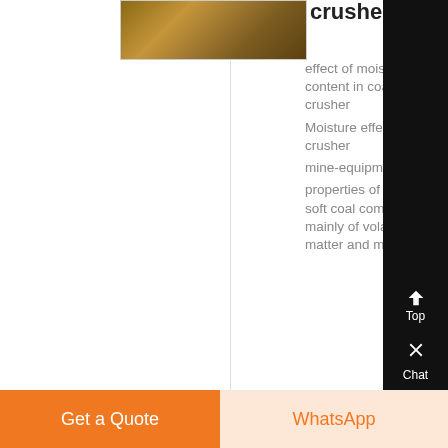[Figure (photo): Photo of a crusher machine or mining equipment, brownish/earthy tones]
crusher
effect of moisture content in coal in crusher
Moisture effect in coal crusher
mine-equipments3
properties of coal it is a soft coal composed mainly of volatile matter and moisture
Get a Quote   WhatsApp